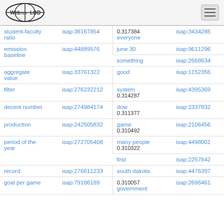Web isa LOD
| term | isap id | term | isap id |
| --- | --- | --- | --- |
| student-faculty ratio | isap:38167854 | everyone
0.317384 | isap:3434285 |
| emission baseline | isap:44889576 | june 30 | isap:9611296 |
|  |  | something | isap:2668634 |
| aggregate value | isap:33761322 | good | isap:1152355 |
| filter | isap:276232212 | system
0.314287 | isap:4395369 |
| decent number | isap:274984174 | dow | isap:2337832 |
| production | isap:242505832 | game
0.310492 | isap:2106456 |
| period of the year | isap:272705408 | many people | isap:4498001 |
|  |  | first | isap:2257642 |
| record | isap:276611233 | south dakota | isap:4476397 |
| goal per game | isap:79186189 | government
0.310057 | isap:2696461 |